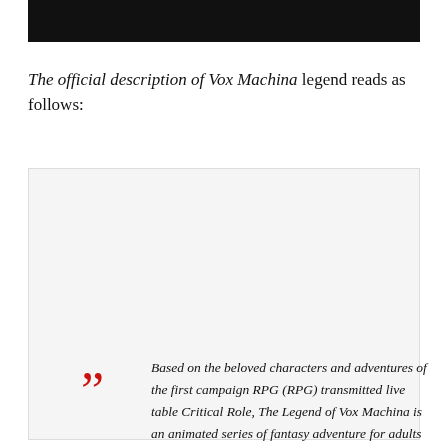[Figure (other): Black rectangular bar at the top of the page]
The official description of Vox Machina legend reads as follows:
Based on the beloved characters and adventures of the first campaign RPG (RPG) transmitted live table Critical Role, The Legend of Vox Machina is an animated series of fantasy adventure for adults who follow Vox Machina, one band of misfits who would like to drink. and fights. In a desperate attempt to pay the bill of the bar, these unlikely heroes end up in a quest to save the kingdom of Exandria dark magical forces.